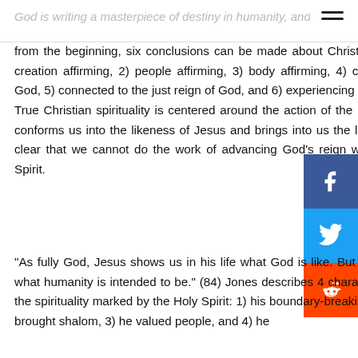God is writing a masterpiece of destiny in humanity, and
from the beginning, six conclusions can be made about Christian spirituality (Ch 1); it is 1) creation affirming, 2) people affirming, 3) body affirming, 4) connected to the presence of God, 5) connected to the just reign of God, and 6) experiencing and advancing God’s shalom. True Christian spirituality is centered around the action of the Holy Spirit in our lives, as he conforms us into the likeness of Jesus and brings into us the life of Jesus (Ch 3). Also, it is clear that we cannot do the work of advancing God’s reign without the power of the Holy Spirit.
“As fully God, Jesus shows us in his life what God is like. But as fully human, he shows us what humanity is intended to be.” (84) Jones describes 4 characteristics of Jesus that shows the spirituality marked by the Holy Spirit: 1) his boundary-breaking compassion, 2) he actively brought shalom, 3) he valued people, and 4) he